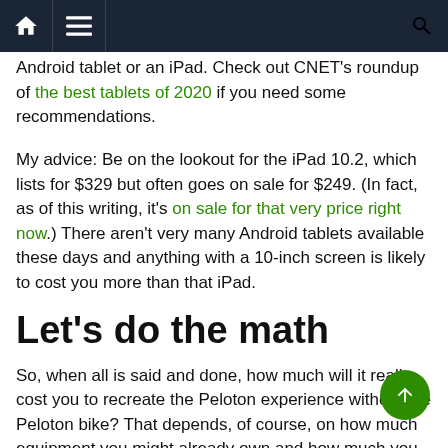Navigation bar with home, menu, and search icons
Android tablet or an iPad. Check out CNET's roundup of the best tablets of 2020 if you need some recommendations.
My advice: Be on the lookout for the iPad 10.2, which lists for $329 but often goes on sale for $249. (In fact, as of this writing, it's on sale for that very price right now.) There aren't very many Android tablets available these days and anything with a 10-inch screen is likely to cost you more than that iPad.
Let's do the math
So, when all is said and done, how much will it really cost you to recreate the Peloton experience without the Peloton bike? That depends, of course, on how much equipment you might already own and how much you need to buy. But the Peloton app itself feels like the real bargain at just $13 per